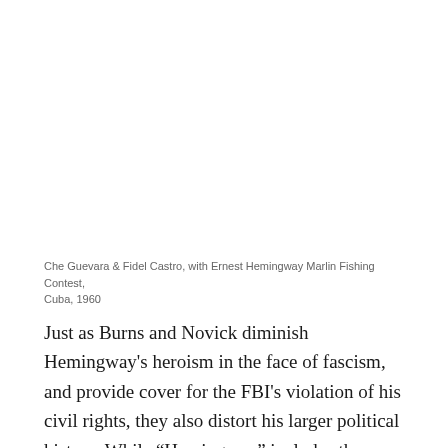Che Guevara & Fidel Castro, with Ernest Hemingway Marlin Fishing Contest, Cuba, 1960
Just as Burns and Novick diminish Hemingway's heroism in the face of fascism, and provide cover for the FBI's violation of his civil rights, they also distort his larger political history. While “Hemingway” includes the author’s declaration that “all the state has ever meant to me is unjust taxation,” making him sound like a right-winger, it never mentions that he supported